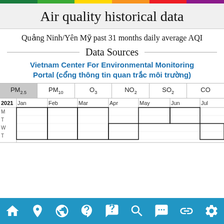[Figure (infographic): Rainbow/AQI colored horizontal bar at top: green, light-green, yellow, orange, red, purple segments]
Air quality historical data
Quảng Ninh/Yên Mỹ past 31 months daily average AQI
Data Sources
Vietnam Center For Environmental Monitoring Portal (cổng thông tin quan trắc môi trường)
| PM2.5 | PM10 | O3 | NO2 | SO2 | CO |
| --- | --- | --- | --- | --- | --- |
[Figure (infographic): Calendar grid showing 2021 months Jan through Jul, with day-of-week rows (M,T,W,...) and cells outlined in black where data is present]
[Figure (infographic): Bottom navigation bar with icons: home, location pin, globe, mask/face, FAQ speech bubble, search, person with speech bubble, link/chain, settings gear]